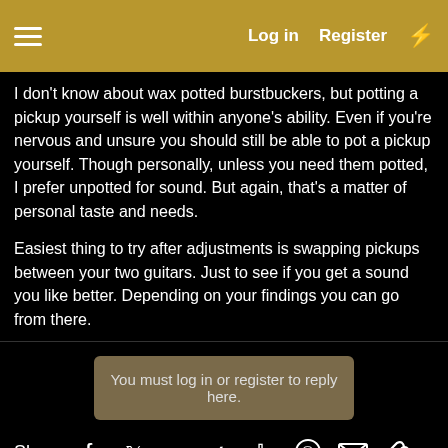Log in  Register
I don't know about wax potted burstbuckers, but potting a pickup yourself is well within anyone's ability. Even if you're nervous and unsure you should still be able to pot a pickup yourself. Though personally, unless you need them potted, I prefer unpotted for sound. But again, that's a matter of personal taste and needs.

Easiest thing to try after adjustments is swapping pickups between your two guitars. Just to see if you get a sound you like better. Depending on your findings you can go from there.
You must log in or register to reply here.
Share:
Gibson Custom/Historic Les Paul District